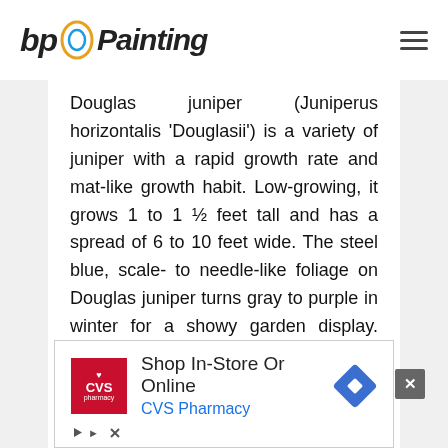bp Painting
Douglas juniper (Juniperus horizontalis 'Douglasii') is a variety of juniper with a rapid growth rate and mat-like growth habit. Low-growing, it grows 1 to 1 ½ feet tall and has a spread of 6 to 10 feet wide. The steel blue, scale- to needle-like foliage on Douglas juniper turns gray to purple in winter for a showy garden display. Each branch tip on Douglas juniper has a long, straight form. Douglas juniper grows best in full sun to part shade but tolerates a wide range of soil types. It is heat- and drought-tolerant.
[Figure (other): CVS Pharmacy advertisement: Shop In-Store Or Online, CVS Pharmacy]